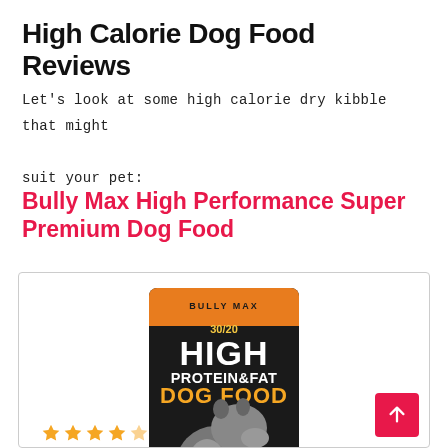High Calorie Dog Food Reviews
Let's look at some high calorie dry kibble that might suit your pet:
Bully Max High Performance Super Premium Dog Food
[Figure (photo): Product photo of Bully Max 30/20 High Protein & Fat Dog Food bag — black and orange bag with a muscular dog illustration, labeled Chicken Blend Dry Food, 30% Protein / 20% Fat, 535 calories per cup, All Life Stages for Puppies & Adults]